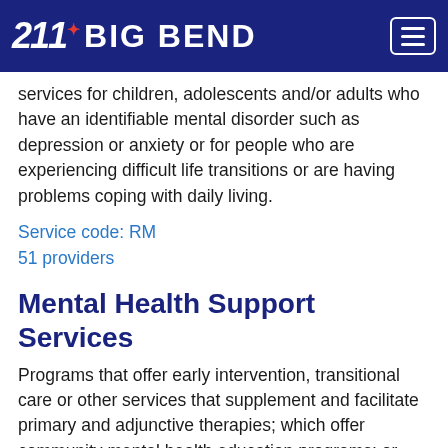211 BIG BEND
services for children, adolescents and/or adults who have an identifiable mental disorder such as depression or anxiety or for people who are experiencing difficult life transitions or are having problems coping with daily living.
Service code: RM
51 providers
Mental Health Support Services
Programs that offer early intervention, transitional care or other services that supplement and facilitate primary and adjunctive therapies; which offer community mental health education programs; or which link people who are in need of treatment with appropriate private providers.